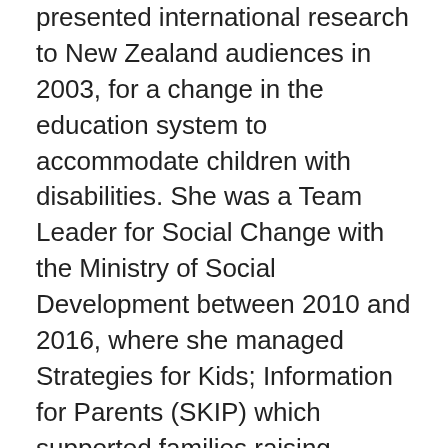presented international research to New Zealand audiences in 2003, for a change in the education system to accommodate children with disabilities. She was a Team Leader for Social Change with the Ministry of Social Development between 2010 and 2016, where she managed Strategies for Kids; Information for Parents (SKIP) which supported families raising children with access to community support and a range of resources. She established Connect and Co in 2016, aimed to create social change and connect communities, and helped with the Ministry of Education's Government Disability Plan the 'Good Start in Life' focussed on bringing parents voices and experiences to the centre of decision-making. She worked with IHC New Zealand to develop an online network that supported parents and families with information and